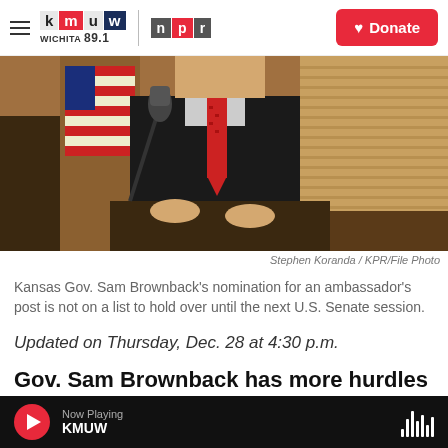KMUW Wichita 89.1 / NPR | Donate
[Figure (photo): Man in dark suit with red tie standing at a podium with a microphone, American flag visible in background, in what appears to be a government building chamber]
Stephen Koranda / KPR/File Photo
Kansas Gov. Sam Brownback's nomination for an ambassador's post is not on a list to hold over until the next U.S. Senate session.
Updated on Thursday, Dec. 28 at 4:30 p.m.
Gov. Sam Brownback has more hurdles to clear
Now Playing KMUW